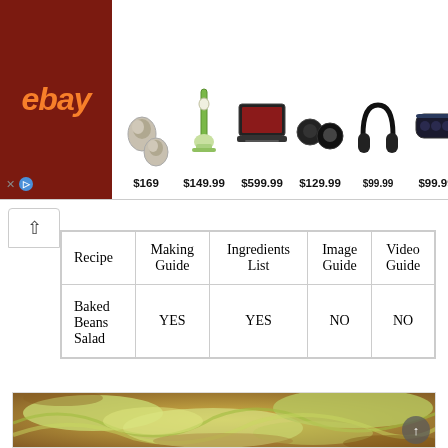[Figure (screenshot): eBay advertisement banner showing wireless earbuds ($169), vacuum cleaner ($149.99), gaming laptop ($599.99), true wireless earbuds ($129.99), over-ear headphones ($299.99), portable Bluetooth speaker ($99.99)]
| Recipe | Making Guide | Ingredients List | Image Guide | Video Guide |
| --- | --- | --- | --- | --- |
| Baked Beans Salad | YES | YES | NO | NO |
[Figure (photo): Close-up photo of a baked vegetable dish, appearing to be a casserole with green and yellow roasted vegetables, possibly cabbage or leek-based, in a white baking dish]